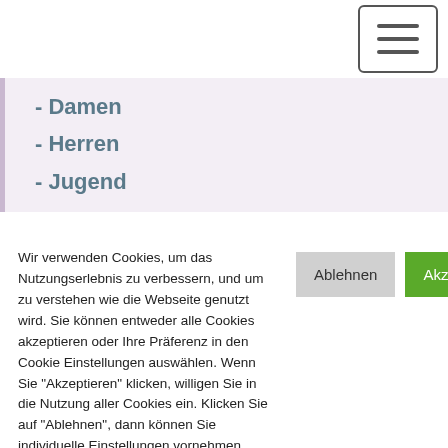[Figure (screenshot): Hamburger menu button icon in top right corner]
- Damen
- Herren
- Jugend
Wir verwenden Cookies, um das Nutzungserlebnis zu verbessern, und um zu verstehen wie die Webseite genutzt wird. Sie können entweder alle Cookies akzeptieren oder Ihre Präferenz in den Cookie Einstellungen auswählen. Wenn Sie "Akzeptieren" klicken, willigen Sie in die Nutzung aller Cookies ein. Klicken Sie auf "Ablehnen", dann können Sie individuelle Einstellungen vornehmen. Weitere Informationen erhalten Sie in unserer Datenschutzerklärung.